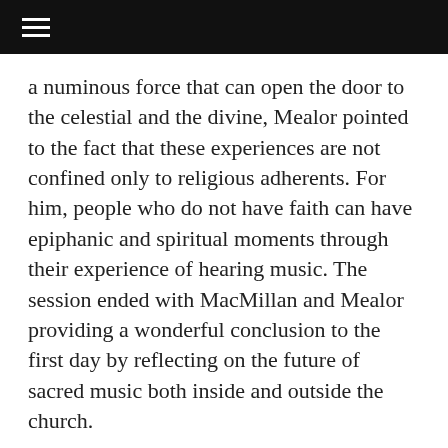☰
a numinous force that can open the door to the celestial and the divine, Mealor pointed to the fact that these experiences are not confined only to religious adherents. For him, people who do not have faith can have epiphanic and spiritual moments through their experience of hearing music. The session ended with MacMillan and Mealor providing a wonderful conclusion to the first day by reflecting on the future of sacred music both inside and outside the church.
Tuesday 6 March
The festival's second day broadened the artistic perspective to consider the interaction of theology